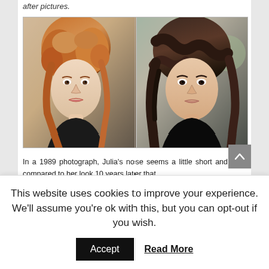after pictures.
[Figure (photo): Side-by-side before and after photos of a woman. Left photo shows a younger woman with curly reddish-blonde hair. Right photo shows an older woman with dark wavy hair.]
In a 1989 photograph, Julia's nose seems a little short and thick compared to her look 10 years later that
This website uses cookies to improve your experience. We'll assume you're ok with this, but you can opt-out if you wish.
Accept
Read More